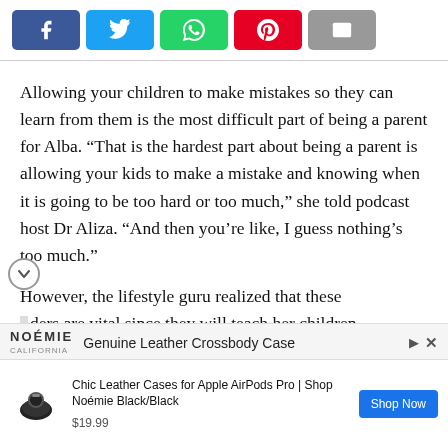[Figure (other): Social share buttons: Facebook (blue), Twitter (light blue), WhatsApp (green), Pinterest (red), Email (gray)]
Allowing your children to make mistakes so they can learn from them is the most difficult part of being a parent for Alba. “That is the hardest part about being a parent is allowing your kids to make a mistake and knowing when it is going to be too hard or too much,” she told podcast host Dr Aliza. “And then you’re like, I guess nothing’s too much.”
However, the lifestyle guru realized that these ders are vital since they will teach her children
[Figure (screenshot): Advertisement banner: Noémie California brand, Genuine Leather Crossbody Case, with play and close icons]
[Figure (screenshot): Advertisement card: Chic Leather Cases for Apple AirPods Pro | Shop Noémie Black/Black. Price $19.99. Shop Now button.]